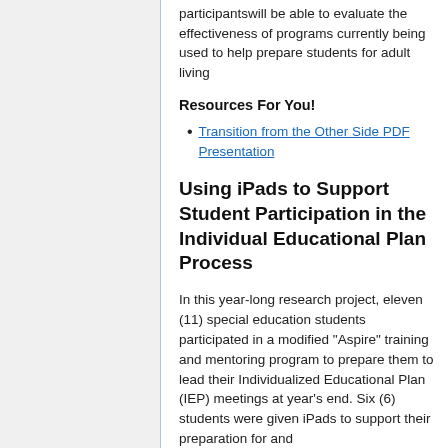participants will be able to evaluate the effectiveness of programs currently being used to help prepare students for adult living
Resources For You!
Transition from the Other Side PDF Presentation
Using iPads to Support Student Participation in the Individual Educational Plan Process
In this year-long research project, eleven (11) special education students participated in a modified “Aspire” training and mentoring program to prepare them to lead their Individualized Educational Plan (IEP) meetings at year’s end. Six (6) students were given iPads to support their preparation for and